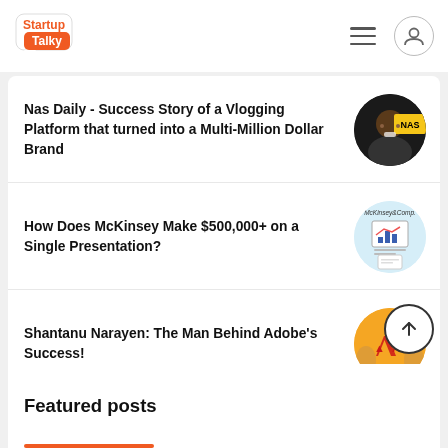StartupTalky
Nas Daily - Success Story of a Vlogging Platform that turned into a Multi-Million Dollar Brand
How Does McKinsey Make $500,000+ on a Single Presentation?
Shantanu Narayen: The Man Behind Adobe's Success!
Featured posts